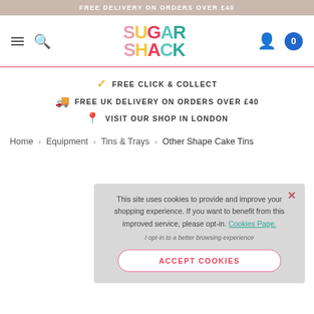FREE DELIVERY ON ORDERS OVER £40
[Figure (logo): Sugar Shack colourful logo with hamburger menu, search icon, user icon, and cart badge showing 0]
FREE CLICK & COLLECT
FREE UK DELIVERY ON ORDERS OVER £40
VISIT OUR SHOP IN LONDON
Home › Equipment › Tins & Trays › Other Shape Cake Tins
This site uses cookies to provide and improve your shopping experience. If you want to benefit from this improved service, please opt-in. Cookies Page.

I opt-in to a better browsing experience

ACCEPT COOKIES